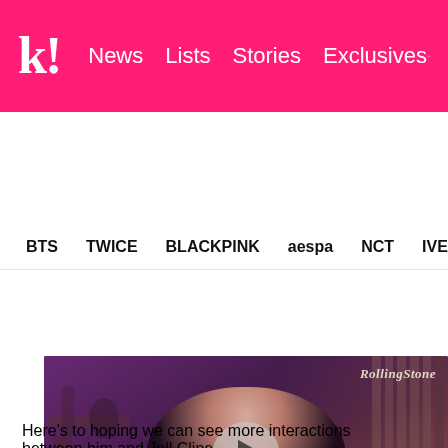k! News Lists Stories Exclusives
BTS TWICE BLACKPINK aespa NCT IVE SHIN
[Figure (screenshot): Video thumbnail from Rolling Stone showing a person wearing a black CELINE outfit, with a play button overlay and subtitle text: I don't know how he feels about that but I really like him and I'm honored to be able to work with him.]
Here's to hoping we can see more interactions between him and Jell Cline...